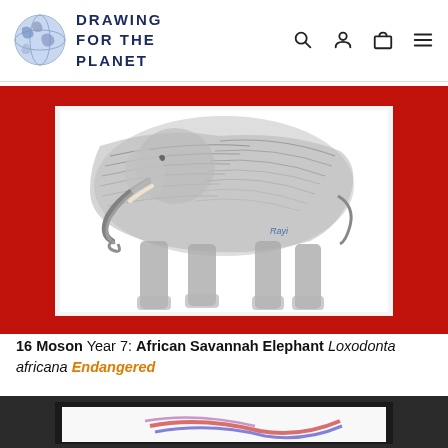[Figure (logo): Drawing for the Planet logo with globe and brand name text]
[Figure (photo): Child's pencil drawing of an African Savannah Elephant in a red frame, showing elephant legs and body]
16 Moson Year 7: African Savannah Elephant Loxodonta africana Endangered
[Figure (photo): Partial view of another framed drawing in a black frame, just the top portion visible]